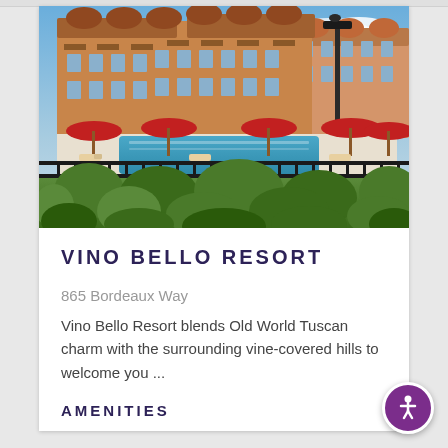[Figure (photo): Exterior photo of Vino Bello Resort showing multi-story Tuscan-style apartment buildings with warm beige/orange stucco, balconies, a pool area with red umbrellas and lounge chairs, black iron fence, and lush green landscaping in the foreground under a partly cloudy sky.]
VINO BELLO RESORT
865 Bordeaux Way
Vino Bello Resort blends Old World Tuscan charm with the surrounding vine-covered hills to welcome you ...
AMENITIES